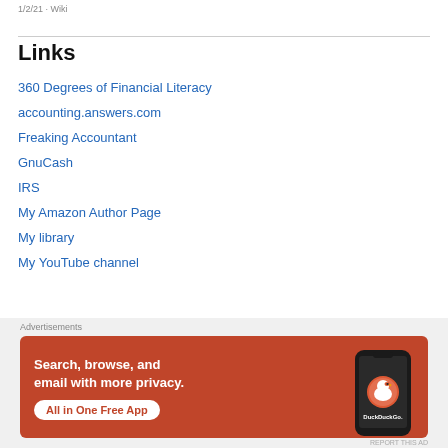1/2/21 · Wiki
Links
360 Degrees of Financial Literacy
accounting.answers.com
Freaking Accountant
GnuCash
IRS
My Amazon Author Page
My library
My YouTube channel
[Figure (infographic): DuckDuckGo advertisement banner with orange background. Text reads: 'Search, browse, and email with more privacy. All in One Free App'. Shows a smartphone with the DuckDuckGo app logo. Labeled 'Advertisements'.]